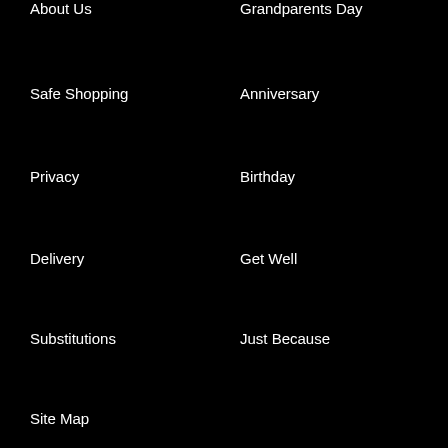About Us
Grandparents Day
Safe Shopping
Anniversary
Privacy
Birthday
Delivery
Get Well
Substitutions
Just Because
Site Map
CUSTOMER SERVICE
PROUD MEMBER OF THE
Help/FAQs
teleflora. Network